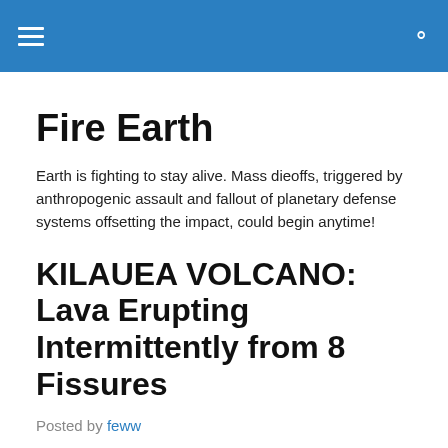Fire Earth — navigation header with hamburger menu and search icon
Fire Earth
Earth is fighting to stay alive. Mass dieoffs, triggered by anthropogenic assault and fallout of planetary defense systems offsetting the impact, could begin anytime!
KILAUEA VOLCANO: Lava Erupting Intermittently from 8 Fissures
Posted by feww
HAWAIIAN VOLCANO OBSERVATORY